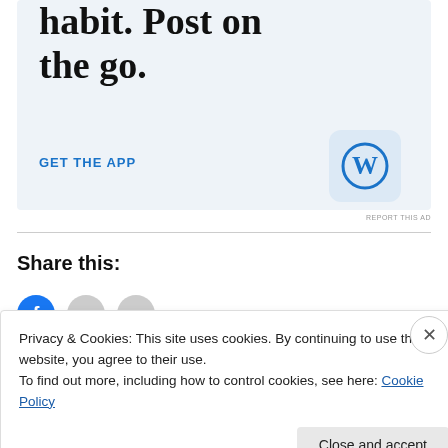[Figure (illustration): WordPress app advertisement banner with large serif text 'Build a writing habit. Post on the go.' and a blue 'GET THE APP' CTA link with the WordPress app icon on a light blue background]
REPORT THIS AD
Share this:
[Figure (illustration): Three social sharing icon circles — blue (Facebook), grey, grey]
Privacy & Cookies: This site uses cookies. By continuing to use this website, you agree to their use.
To find out more, including how to control cookies, see here: Cookie Policy
Close and accept